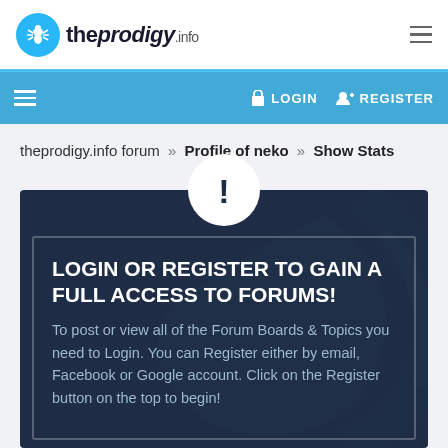theprodigy.info
LOGIN   REGISTER
theprodigy.info forum » Profile of neko » Show Stats
LOGIN OR REGISTER TO GAIN A FULL ACCESS TO FORUMS! To post or view all of the Forum Boards & Topics you need to Login. You can Register either by email, Facebook or Google account. Click on the Register button on the top to begin!